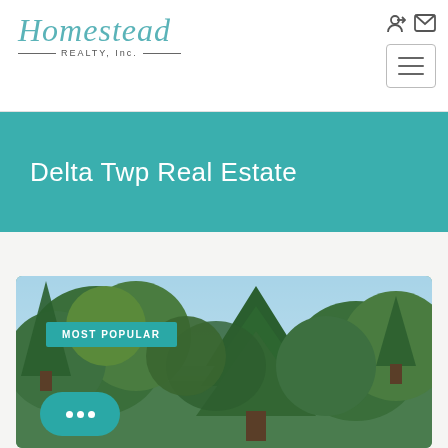Homestead REALTY, Inc. — navigation header with logo and icons
Delta Twp Real Estate
[Figure (photo): Outdoor real estate listing photo showing tall green deciduous and pine trees against a light blue sky, with a 'MOST POPULAR' teal badge overlaid in upper left]